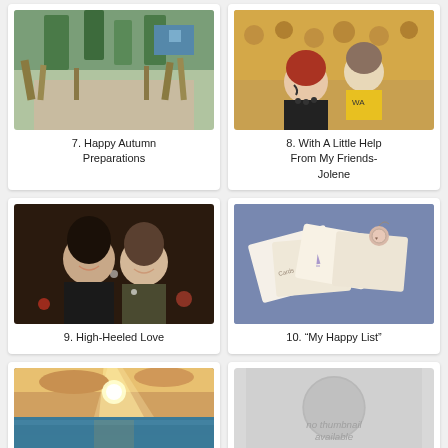[Figure (photo): Outdoor scene with dry grasses and gravel path with trees in background]
7. Happy Autumn Preparations
[Figure (photo): Two people at a sports event in yellow/gold clothing, woman with face paint]
8. With A Little Help From My Friends- Jolene
[Figure (photo): Couple smiling together in dark setting with bokeh lights]
9. High-Heeled Love
[Figure (photo): Handmade cards and gift tags laid out on blue background]
10. "My Happy List"
[Figure (photo): Sunset over water/ocean with dramatic clouds and light rays]
[Figure (photo): No thumbnail available placeholder image]